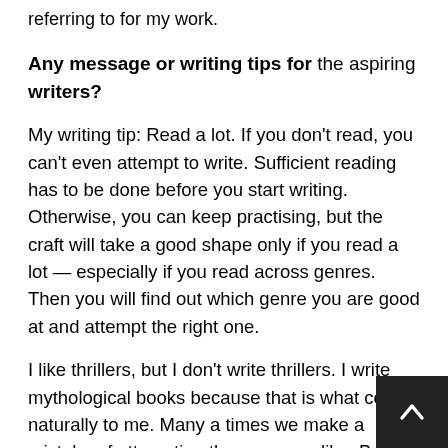referring to for my work.
Any message or writing tips for the aspiring writers?
My writing tip: Read a lot. If you don’t read, you can’t even attempt to write. Sufficient reading has to be done before you start writing. Otherwise, you can keep practising, but the craft will take a good shape only if you read a lot — especially if you read across genres. Then you will find out which genre you are good at and attempt the right one.
I like thrillers, but I don’t write thrillers. I write mythological books because that is what comes naturally to me. Many a times we make a mistake of attempting the genre we like. But maybe we not have the capability to write that genre. Thu a day 80% of the time should be given to reading